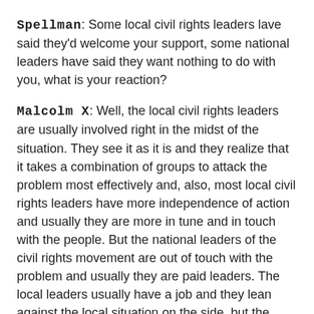Spellman: Some local civil rights leaders lave said they'd welcome your support, some national leaders have said they want nothing to do with you, what is your reaction?
Malcolm X: Well, the local civil rights leaders are usually involved right in the midst of the situation. They see it as it is and they realize that it takes a combination of groups to attack the problem most effectively and, also, most local civil rights leaders have more independence of action and usually they are more in tune and in touch with the people. But the national leaders of the civil rights movement are out of touch with the problem and usually they are paid leaders. The local leaders usually have a job and they lean against the local situation on the side, but the nationally known leaders are paid. They are full-time leaders, they are professional leaders and whoever pays their salary has a great say so in what they do